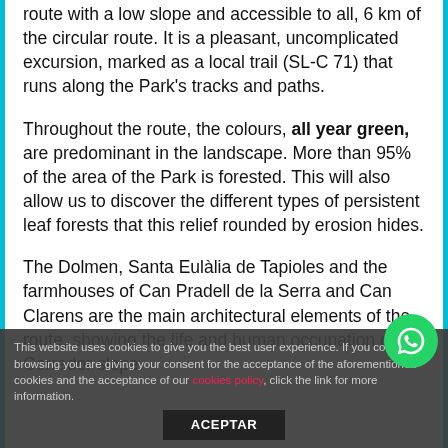route with a low slope and accessible to all, 6 km of the circular route. It is a pleasant, uncomplicated excursion, marked as a local trail (SL-C 71) that runs along the Park's tracks and paths.
Throughout the route, the colours, all year green, are predominant in the landscape. More than 95% of the area of the Park is forested. This will also allow us to discover the different types of persistent leaf forests that this relief rounded by erosion hides.
The Dolmen, Santa Eulàlia de Tapioles and the farmhouses of Can Pradell de la Serra and Can Clarens are the main architectural elements of the route, showing the life and human occupation of the Corredor slope.
The tour will end at the Museum of the Forest and the
This website uses cookies to give you the best user experience. If you continue browsing you are giving your consent for the acceptance of the aforementioned cookies and the acceptance of our cookies policy, click the link for more information.